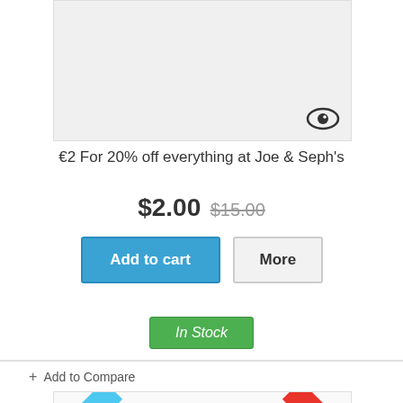[Figure (screenshot): Product image placeholder with eye/preview icon in bottom-right corner]
€2 For 20% off everything at Joe & Seph's
$2.00 $15.00
Add to cart | More
In Stock
+ Add to Compare
[Figure (screenshot): Bottom product card with NEW ribbon on top-left and SALE! ribbon on top-right]